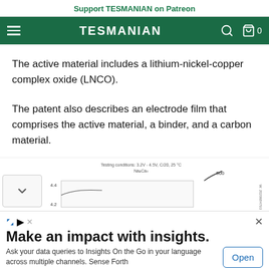Support TESMANIAN on Patreon
TESMANIAN
The active material includes a lithium-nickel-copper complex oxide (LNCO).
The patent also describes an electrode film that comprises the active material, a binder, and a carbon material.
[Figure (continuous-plot): Partial view of a battery electrode chart showing voltage (y-axis, ~4.2-4.4V) vs capacity, with testing conditions: 3.2V-4.5V, C/20, 25°C, Na2CaO3, and cycle number 500 annotated.]
Testing conditions: 3.2V - 4.5V, C/20, 25 °C, Na2Ca0
Make an impact with insights.
Ask your data queries to Insights On the Go in your language across multiple channels. Sense Forth